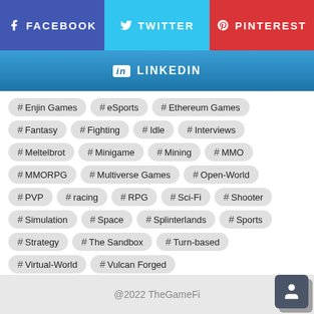[Figure (infographic): Social media share buttons: Facebook (blue), Twitter (cyan), Pinterest (red), LinkedIn (blue gradient)]
# Enjin Games
# eSports
# Ethereum Games
# Fantasy
# Fighting
# Idle
# Interviews
# Meltelbrot
# Minigame
# Mining
# MMO
# MMORPG
# Multiverse Games
# Open-World
# PVP
# racing
# RPG
# Sci-Fi
# Shooter
# Simulation
# Space
# Splinterlands
# Sports
# Strategy
# The Sandbox
# Turn-based
# Virtual-World
# Vulcan Forged
@2022 TheGameFi